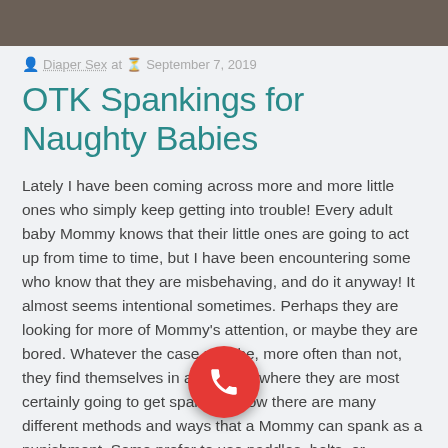[Figure (photo): Partial photo at top of page, cropped to a narrow horizontal bar]
Diaper Sex at  September 7, 2019
OTK Spankings for Naughty Babies
Lately I have been coming across more and more little ones who simply keep getting into trouble! Every adult baby Mommy knows that their little ones are going to act up from time to time, but I have been encountering some who know that they are misbehaving, and do it anyway! It almost seems intentional sometimes. Perhaps they are looking for more of Mommy's attention, or maybe they are bored. Whatever the case may be, more often than not, they find themselves in a situation where they are most certainly going to get spanked! Now there are many different methods and ways that a Mommy can spank as a punishment. Some prefer to use paddles, belts, or switches. These are very effective options, and [painful] for those bottoms, but I prefer the old-fashioned way. My old reliable over the knee spankings! There is something about them [that makes them great punishment]...